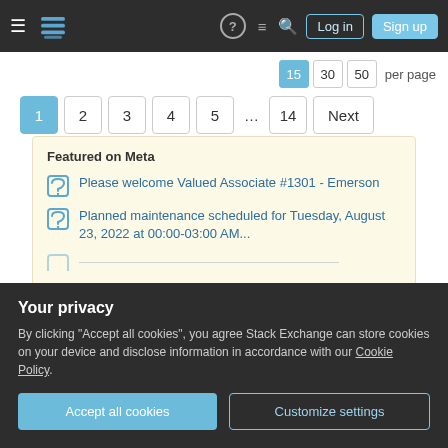Stack Exchange navigation bar with Log in and Sign up buttons
15  30  50  per page
1  2  3  4  5  ...  14  Next
Featured on Meta
Please welcome Valued Associate #1301 - Emerson
Planned maintenance scheduled for Tuesday, August 23, 2022 at 00:00-03:00 AM...
Your privacy
By clicking "Accept all cookies", you agree Stack Exchange can store cookies on your device and disclose information in accordance with our Cookie Policy.
Accept all cookies   Customize settings